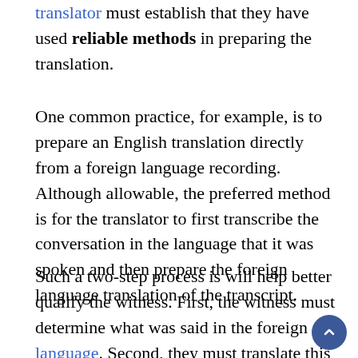translator must establish that they have used reliable methods in preparing the translation.
One common practice, for example, is to prepare an English translation directly from a foreign language recording. Although allowable, the preferred method is for the translator to first transcribe the conversation in the language that it was spoken and then prepare the foreign language translation of the transcript.
Such a two-step process is will help better qualify the witness. First, the witness must determine what was said in the foreign language. Second, they must translate this into English. Requiring the witness to focus on each step separately increases the likelihood that each step will be